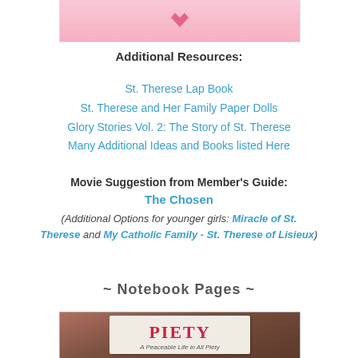[Figure (photo): Top portion of a pink illustrated image with a small heart graphic visible at the bottom edge]
Additional Resources:
St. Therese Lap Book
St. Therese and Her Family Paper Dolls
Glory Stories Vol. 2: The Story of St. Therese
Many Additional Ideas and Books listed Here
Movie Suggestion from Member's Guide:
The Chosen
(Additional Options for younger girls: Miracle of St. Therese and My Catholic Family - St. Therese of Lisieux)
~ Notebook Pages ~
[Figure (photo): Photo of a purple notebook or folder with a white card on top reading PIETY in red letters with subtitle text below]